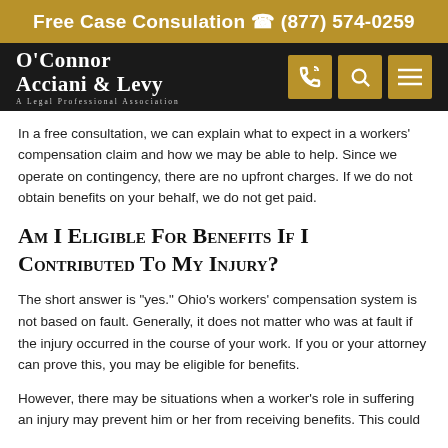Free Case Consulation (877) 574-0259
[Figure (logo): O'Connor Acciani & Levy law firm logo and navigation bar with phone, search, and menu icons on dark background]
In a free consultation, we can explain what to expect in a workers' compensation claim and how we may be able to help. Since we operate on contingency, there are no upfront charges. If we do not obtain benefits on your behalf, we do not get paid.
Am I Eligible For Benefits If I Contributed To My Injury?
The short answer is "yes." Ohio's workers' compensation system is not based on fault. Generally, it does not matter who was at fault if the injury occurred in the course of your work. If you or your attorney can prove this, you may be eligible for benefits.
However, there may be situations when a worker's role in suffering an injury may prevent him or her from receiving benefits. This could